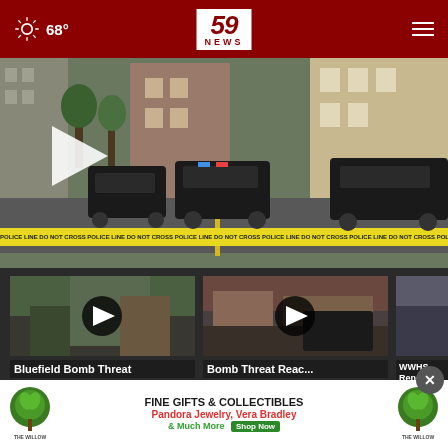59 NEWS — 68°
[Figure (photo): Street scene with police vehicles and yellow police tape reading POLICE LINE DO NOT CROSS across a blocked-off road, with a play button overlay indicating a video]
[Figure (photo): Thumbnail video still of a scene with play button — captioned Bluefield Bomb Threat]
Bluefield Bomb Threat
[Figure (photo): Thumbnail video still with play button — captioned Bomb Threat Reach...]
Bomb Threat Reac...
[Figure (photo): Partial thumbnail — captioned WWHS Renov...]
WWHS Renov...
[Figure (infographic): Advertisement for The Willow Gift Gallery — FINE GIFTS & COLLECTIBLES, Pandora Jewelry, Vera Bradley & Much More, Shop Now]